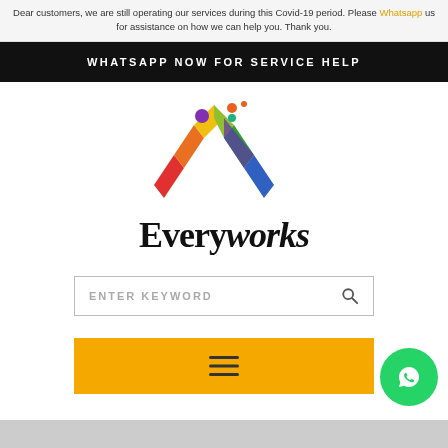Dear customers, we are still operating our services during this Covid-19 period. Please Whatsapp us for assistance on how we can help you. Thank you.
WHATSAPP NOW FOR SERVICE HELP
[Figure (logo): Everyworks logo with colorful chevron/roof shape and two figures above it, text reads 'Everyworks']
ENTER KEYWORD
[Figure (other): Yellow/orange menu bar with hamburger menu icon (three horizontal lines)]
[Figure (other): Green circular WhatsApp floating button with phone handset icon]